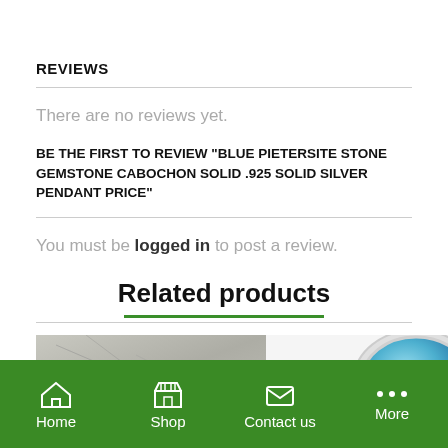REVIEWS
There are no reviews yet.
BE THE FIRST TO REVIEW "BLUE PIETERSITE STONE GEMSTONE CABOCHON SOLID .925 SOLID SILVER PENDANT PRICE"
You must be logged in to post a review.
Related products
[Figure (photo): Two product images side by side: left shows a grey stone/mineral texture, right shows a blue gemstone cabochon in silver setting]
Home  Shop  Contact us  More